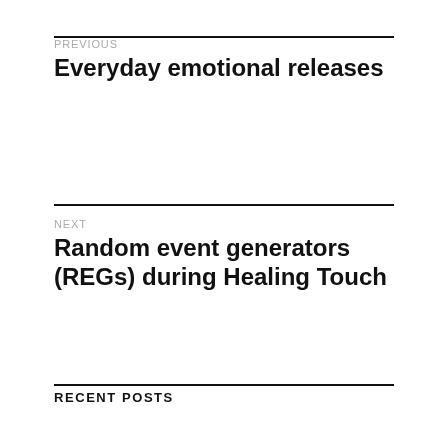PREVIOUS
Everyday emotional releases
NEXT
Random event generators (REGs) during Healing Touch
RECENT POSTS